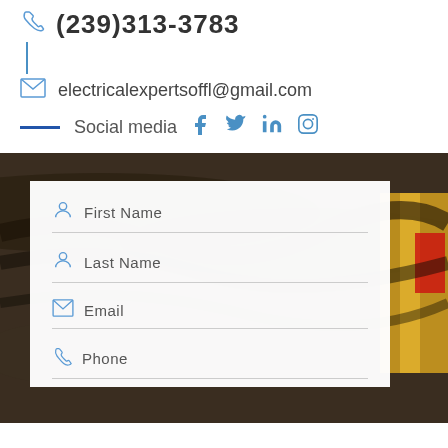(239)313-3783
electricalexpertsoffl@gmail.com
Social media
[Figure (photo): Background photo of electrical wires/cables with a white form card overlay containing fields: First Name, Last Name, Email, Phone]
First Name
Last Name
Email
Phone